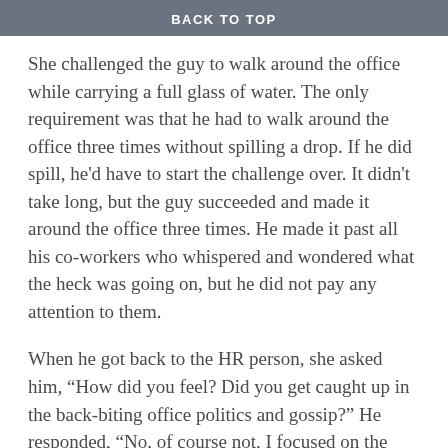BACK TO TOP
She challenged the guy to walk around the office while carrying a full glass of water. The only requirement was that he had to walk around the office three times without spilling a drop. If he did spill, he'd have to start the challenge over. It didn't take long, but the guy succeeded and made it around the office three times. He made it past all his co-workers who whispered and wondered what the heck was going on, but he did not pay any attention to them.
When he got back to the HR person, she asked him, “How did you feel? Did you get caught up in the back-biting office politics and gossip?” He responded, “No, of course not, I focused on the task of getting around the office with the water, not on the other stuff.” He paused for a second and looked across at the smiling HR person and said, “Oh, I get it–thank you, I needed that.” He finally understood that his problem wasn’t all the bad behavior he was